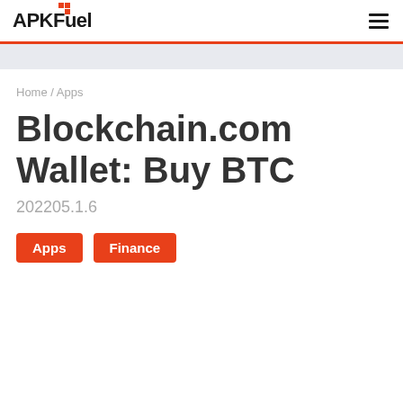APKFuel
Home / Apps
Blockchain.com Wallet: Buy BTC
202205.1.6
Apps
Finance